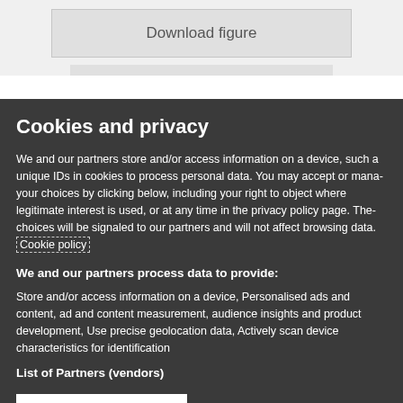Download figure
Cookies and privacy
We and our partners store and/or access information on a device, such a unique IDs in cookies to process personal data. You may accept or manage your choices by clicking below, including your right to object where legitimate interest is used, or at any time in the privacy policy page. These choices will be signaled to our partners and will not affect browsing data. Cookie policy
We and our partners process data to provide:
Store and/or access information on a device, Personalised ads and content, ad and content measurement, audience insights and product development, Use precise geolocation data, Actively scan device characteristics for identification
List of Partners (vendors)
I Accept